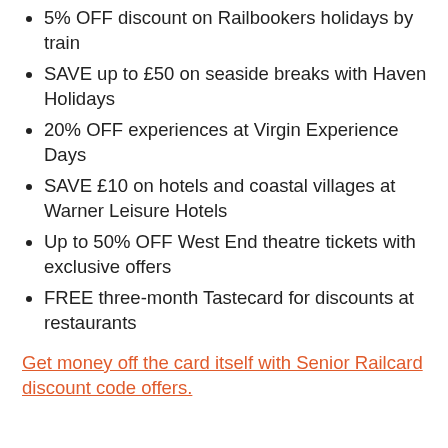5% OFF discount on Railbookers holidays by train
SAVE up to £50 on seaside breaks with Haven Holidays
20% OFF experiences at Virgin Experience Days
SAVE £10 on hotels and coastal villages at Warner Leisure Hotels
Up to 50% OFF West End theatre tickets with exclusive offers
FREE three-month Tastecard for discounts at restaurants
Get money off the card itself with Senior Railcard discount code offers.